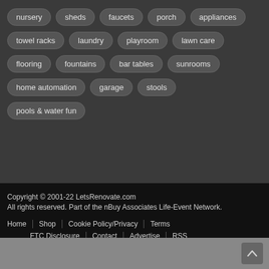nursery
sheds
faucets
porch
appliances
towel racks
laundry
playroom
lawn care
flooring
fountains
bar tables
sunrooms
home automation
garage
stools
pools & water fun
Copyright © 2001-22 LetsRenovate.com
All rights reserved. Part of the nBuy Associates Life-Event Network.
Home | Shop | Cookie Policy/Privacy | Terms
FTC Disclosure | Contact | Advertise | RSS
Site Map | Register | Log-In